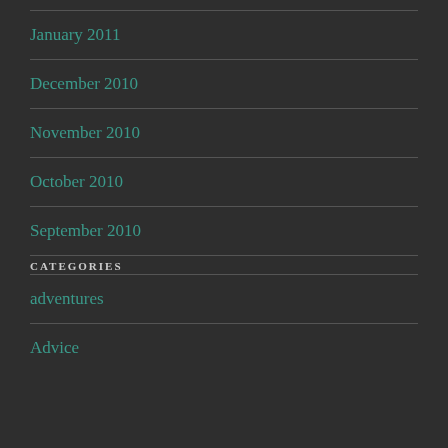January 2011
December 2010
November 2010
October 2010
September 2010
CATEGORIES
adventures
Advice